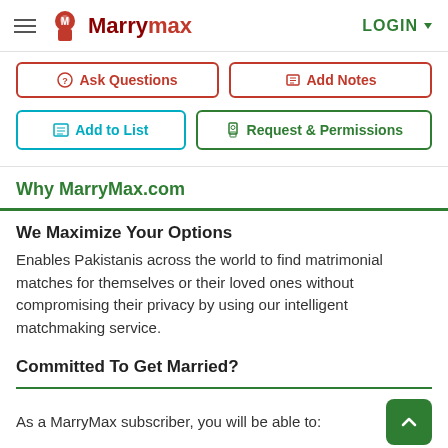MarryMax — LOGIN
Ask Questions | Add Notes
Add to List | Request & Permissions
Why MarryMax.com
We Maximize Your Options
Enables Pakistanis across the world to find matrimonial matches for themselves or their loved ones without compromising their privacy by using our intelligent matchmaking service.
Committed To Get Married?
As a MarryMax subscriber, you will be able to:
Send messages to members!
View verified phone numbers!